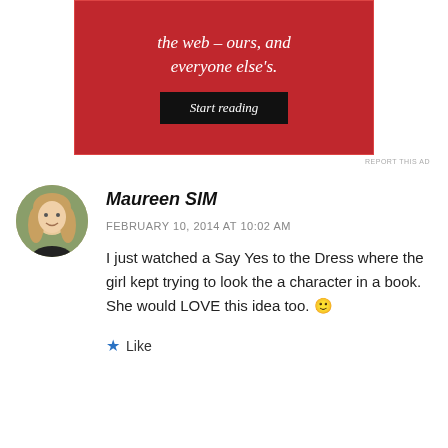[Figure (screenshot): Red advertisement banner with white italic text reading 'the web – ours, and everyone else's.' and a black 'Start reading' button]
REPORT THIS AD
Maureen SIM
FEBRUARY 10, 2014 AT 10:02 AM
I just watched a Say Yes to the Dress where the girl kept trying to look the a character in a book. She would LOVE this idea too. 🙂
Like